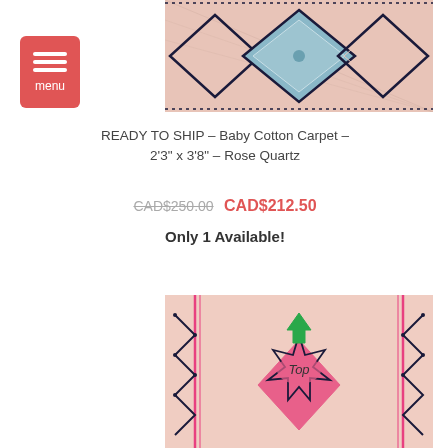[Figure (photo): Close-up of a pink Moroccan-style cotton carpet with diamond/geometric patterns in navy blue and light blue tones.]
READY TO SHIP – Baby Cotton Carpet – 2'3" x 3'8" – Rose Quartz
CAD$250.00  CAD$212.50
Only 1 Available!
[Figure (photo): Close-up of a pink Moroccan-style cotton carpet with a pink diamond motif in the center marked 'Top' with a green arrow, surrounded by black geometric patterns.]